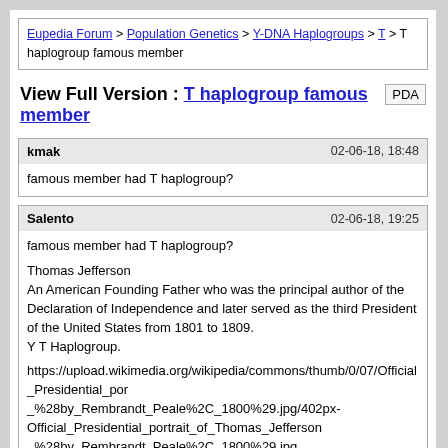Eupedia Forum > Population Genetics > Y-DNA Haplogroups > T > T haplogroup famous member
View Full Version : T haplogroup famous member
PDA
kmak   02-06-18, 18:48
famous member had T haplogroup?
Salento   02-06-18, 19:25
famous member had T haplogroup?

Thomas Jefferson
An American Founding Father who was the principal author of the Declaration of Independence and later served as the third President of the United States from 1801 to 1809.
Y T Haplogroup.

https://upload.wikimedia.org/wikipedia/commons/thumb/0/07/Official_Presidential_portrait_%28by_Rembrandt_Peale%2C_1800%29.jpg/402px-Official_Presidential_portrait_of_Thomas_Jefferson_%28by_Rembrandt_Peale%2C_1800%29.jpg

https://en.m.wikipedia.org/wiki/Thomas_Jefferson

https://www.eupedia.com/europe/Haplogroup_T_Y-DNA.shtml

___________

Elite Leader of the Varna Culture